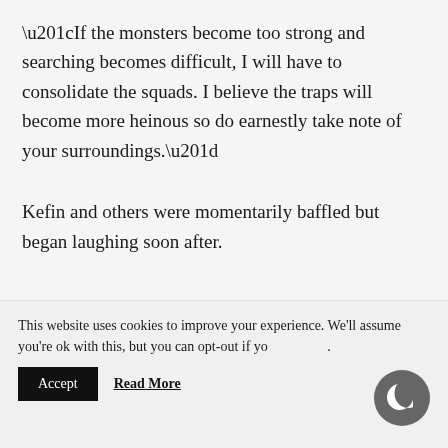“If the monsters become too strong and searching becomes difficult, I will have to consolidate the squads. I believe the traps will become more heinous so do earnestly take note of your surroundings.”
Kefin and others were momentarily baffled but began laughing soon after.
This website uses cookies to improve your experience. We'll assume you're ok with this, but you can opt-out if you wish.